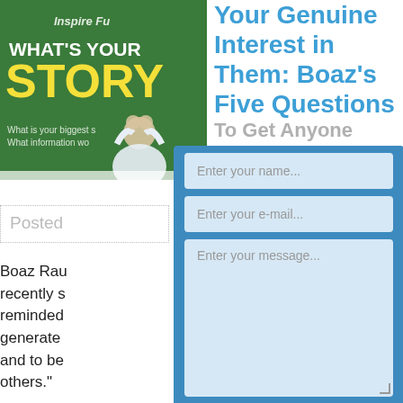[Figure (photo): Green chalkboard with text 'What's Your STORY' and a person sitting with head in hands]
Your Genuine Interest in Them: Boaz's Five Questions To Get Anyone
Posted
Boaz Rau recently s reminded generate and to be others."
[Figure (other): Contact form overlay with fields: Enter your name, Enter your e-mail, Enter your message, Subscribe to my sporadic newsletter checkbox, and Ask Today button]